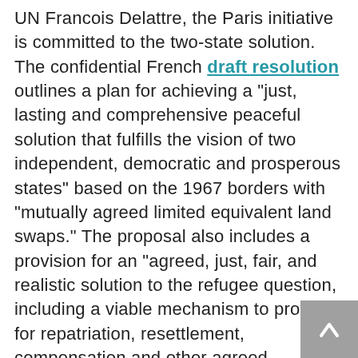UN Francois Delattre, the Paris initiative is committed to the two-state solution. The confidential French draft resolution outlines a plan for achieving a "just, lasting and comprehensive peaceful solution that fulfills the vision of two independent, democratic and prosperous states" based on the 1967 borders with "mutually agreed limited equivalent land swaps." The proposal also includes a provision for an "agreed, just, fair, and realistic solution to the refugee question, including a viable mechanism to provide for repatriation, resettlement, compensation and other agreed measures for a conclusive resolution," while Jerusalem is envisioned as